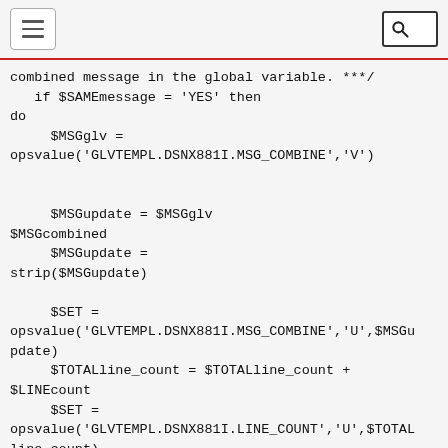[hamburger menu] [search icon]
combined message in the global variable. ***/
   if $SAMEmessage = 'YES' then
do
     $MSGglv =
opsvalue('GLVTEMPL.DSNX881I.MSG_COMBINE','V')

     $MSGupdate = $MSGglv
$MSGcombined
     $MSGupdate =
strip($MSGupdate)

     $SET =
opsvalue('GLVTEMPL.DSNX881I.MSG_COMBINE','U',$MSGu
pdate)
     $TOTALline_count = $TOTALline_count +
$LINEcount
     $SET =
opsvalue('GLVTEMPL.DSNX881I.LINE_COUNT','U',$TOTAL
line_count)
   end /* IF this is another message group for